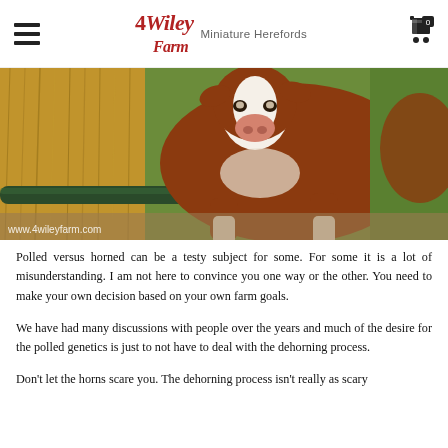4Wiley Farm Miniature Herefords
[Figure (photo): Close-up photo of a brown and white Hereford calf eating hay from a hay rack. The calf is facing the camera with its nose visible. A metal pipe/rail is visible in the foreground. Watermark reads www.4wileyfarm.com]
Polled versus horned can be a testy subject for some.  For some it is a lot of misunderstanding.  I am not here to convince you one way or the other.  You need to make your own decision based on your own farm goals.
We have had many discussions with people over the years and much of the desire for the polled genetics is just to not have to deal with the dehorning process.
Don't let the horns scare you.  The dehorning process isn't really as scary